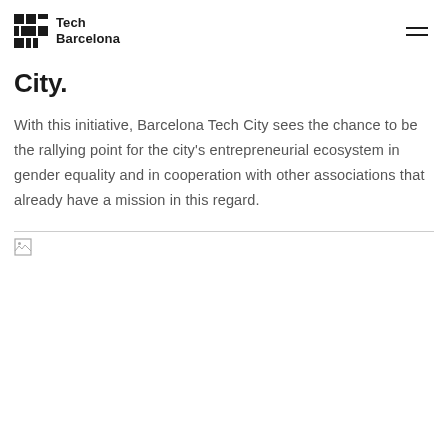Tech Barcelona
City.
With this initiative, Barcelona Tech City sees the chance to be the rallying point for the city's entrepreneurial ecosystem in gender equality and in cooperation with other associations that already have a mission in this regard.
[Figure (other): Broken/missing image placeholder at the bottom of the page]